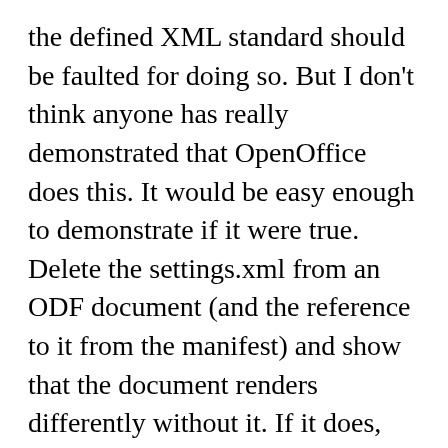the defined XML standard should be faulted for doing so. But I don't think anyone has really demonstrated that OpenOffice does this. It would be easy enough to demonstrate if it were true. Delete the settings.xml from an ODF document (and the reference to it from the manifest) and show that the document renders differently without it. If it does, then submit a bug report against OpenOffice or (since this is open source) submit a patch to fix it. A misuse of application-settings is that easy to fix.
But a standard that confuses the accidental application-dependent properties of a single application for an essential component...